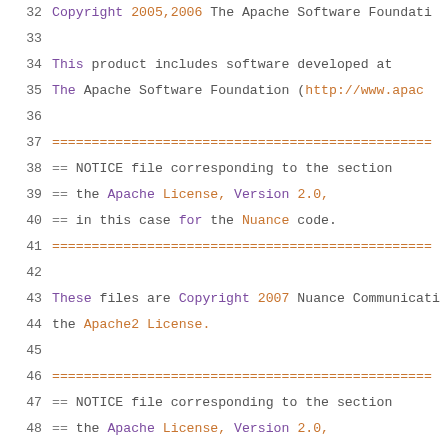32  Copyright 2005,2006 The Apache Software Foundation
33
34  This product includes software developed at
35  The Apache Software Foundation (http://www.apache.org/)
36
37      =============================================
38      ==  NOTICE file corresponding to the section
39      ==  the Apache License, Version 2.0,
40      ==  in this case for the Nuance code.
41      =============================================
42
43  These files are Copyright 2007 Nuance Communications
44  the Apache2 License.
45
46      =============================================
47      ==  NOTICE file corresponding to the section
48      ==  the Apache License, Version 2.0,
49      ==  in this case for the Media Codecs code.
50      =============================================
51
52  Media Codecs